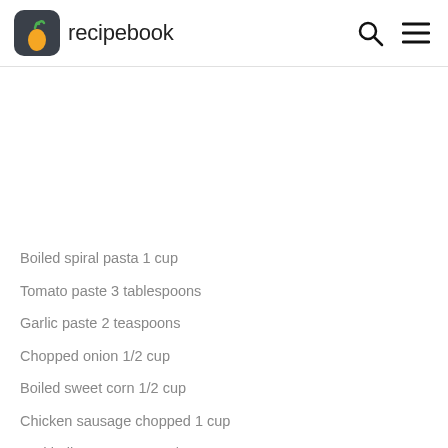recipebook
Boiled spiral pasta 1 cup
Tomato paste 3 tablespoons
Garlic paste 2 teaspoons
Chopped onion 1/2 cup
Boiled sweet corn 1/2 cup
Chicken sausage chopped 1 cup
Red bell pepper paste 1/2 cup
Redchilli powder 1 teaspoon